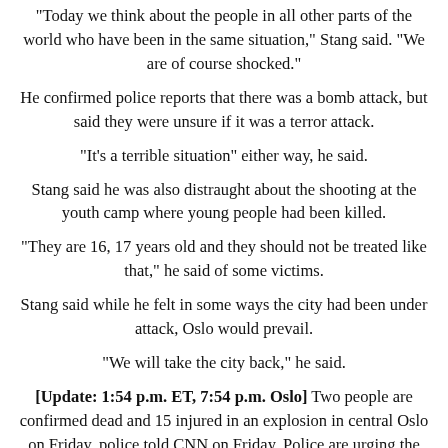"Today we think about the people in all other parts of the world who have been in the same situation," Stang said. "We are of course shocked."
He confirmed police reports that there was a bomb attack, but said they were unsure if it was a terror attack.
"It's a terrible situation" either way, he said.
Stang said he was also distraught about the shooting at the youth camp where young people had been killed.
"They are 16, 17 years old and they should not be treated like that," he said of some victims.
Stang said while he felt in some ways the city had been under attack, Oslo would prevail.
"We will take the city back," he said.
[Update: 1:54 p.m. ET, 7:54 p.m. Oslo] Two people are confirmed dead and 15 injured in an explosion in central Oslo on Friday, police told CNN on Friday. Police are urging the public to limit the use of cell phones in order to keep networks free.
A political adviser for Norway's Labour Party told CNN that